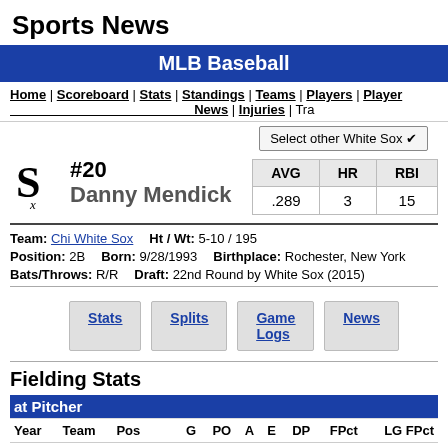Sports News
MLB Baseball
Home | Scoreboard | Stats | Standings | Teams | Players | Player News | Injuries | Tra
Select other White Sox
#20 Danny Mendick
| AVG | HR | RBI |
| --- | --- | --- |
| .289 | 3 | 15 |
Team: Chi White Sox    Ht / Wt: 5-10 / 195
Position: 2B    Born: 9/28/1993    Birthplace: Rochester, New York
Bats/Throws: R/R    Draft: 22nd Round by White Sox (2015)
Stats | Splits | Game Logs | News
Fielding Stats
| Year | Team | Pos | G | PO | A | E | DP | FPct | LG FPct |
| --- | --- | --- | --- | --- | --- | --- | --- | --- | --- |
| at Pitcher |
| 2021 | CWS | Pitcher | 1 | 0 | 0 | 0 | 0 |  | .952 |